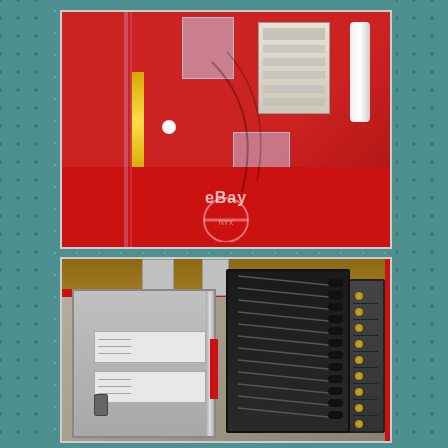[Figure (photo): Interior view of a restored vintage red vending machine showing coin mechanism, clear plastic coin cups/holders, white cylindrical component, and internal hardware components. An eBay watermark is visible in the lower portion.]
[Figure (photo): Interior view of a vintage red vending machine showing inner door panel with labels/stickers, red indicator bar, coin mechanism assembly with multiple coin slots, and slotted display panel on the right side. Wooden backing visible at top.]